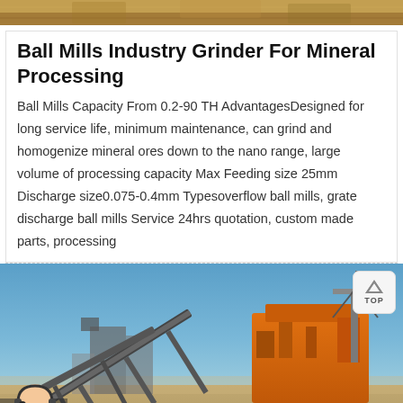[Figure (photo): Top partial image of mineral processing/mining site with earth tones]
Ball Mills Industry Grinder For Mineral Processing
Ball Mills Capacity From 0.2-90 TH AdvantagesDesigned for long service life, minimum maintenance, can grind and homogenize mineral ores down to the nano range, large volume of processing capacity Max Feeding size 25mm Discharge size0.075-0.4mm Typesoverflow ball mills, grate discharge ball mills Service 24hrs quotation, custom made parts, processing
[Figure (photo): Mining/mineral processing facility with conveyor belts and orange heavy machinery against a blue sky, with a customer service chat bar at the bottom showing Message and Online Chat buttons, and a customer service representative avatar]